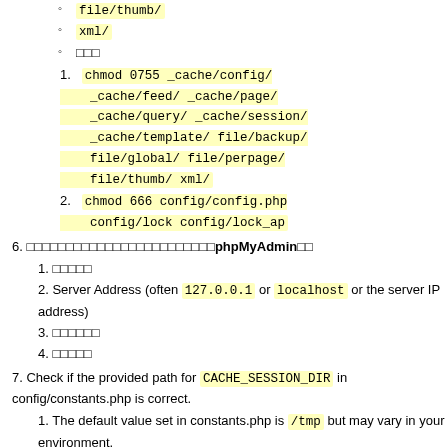file/thumb/
xml/
□□□
1. chmod 0755 _cache/config/ _cache/feed/ _cache/page/ _cache/query/ _cache/session/ _cache/template/ file/backup/ file/global/ file/perpage/ file/thumb/ xml/
2. chmod 666 config/config.php config/lock config/lock_ap
6. □□□□□□□□□□□□□□□□□□□□□□□phpMyAdmin□□
1. □□□□□
2. Server Address (often 127.0.0.1 or localhost or the server IP address)
3. □□□□□□
4. □□□□□
7. Check if the provided path for CACHE_SESSION_DIR in config/constants.php is correct.
1. The default value set in constants.php is /tmp but may vary in your environment.
2. You may want to change this to a custom folder (e.g. _cache/session or /var/tmp)